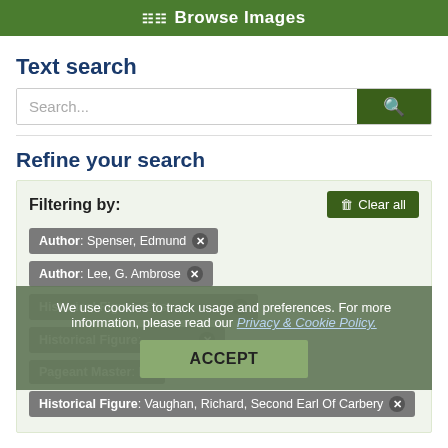Browse Images
Text search
Search...
Refine your search
Filtering by:
Author: Spenser, Edmund
Author: Lee, G. Ambrose
Historical Figure: [partially visible]
Historical Figure: [partially visible]
Pageant Master: Irvi[ng]
Historical Figure: Vaughan, Richard, Second Earl Of Carbery
We use cookies to track usage and preferences. For more information, please read our Privacy & Cookie Policy.
ACCEPT